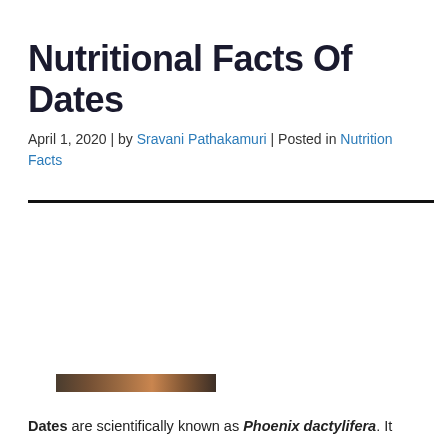Nutritional Facts Of Dates
April 1, 2020 | by Sravani Pathakamuri | Posted in Nutrition Facts
[Figure (photo): Partial view of a photo of dates fruit, appearing as a dark image strip at the top of the content area]
Dates are scientifically known as Phoenix dactylifera. It